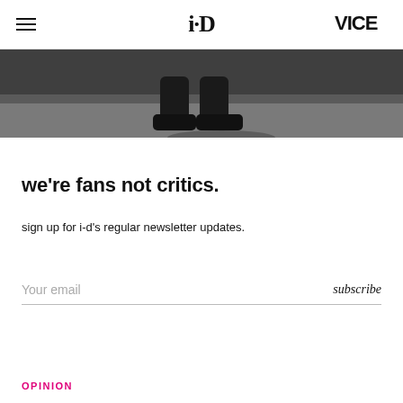i-D | VICE
[Figure (photo): Black and white photo showing feet/shoes of a person standing on a floor, cropped to show only the lower legs and boots.]
we're fans not critics.
sign up for i-d's regular newsletter updates.
Your email  subscribe
OPINION